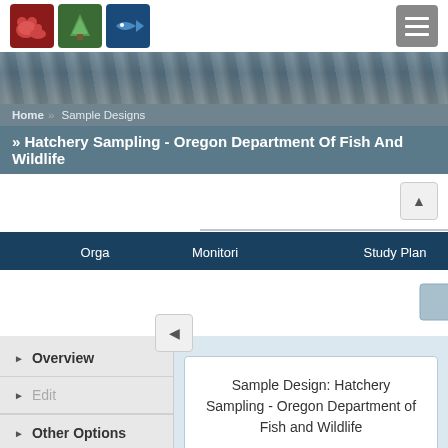[Figure (logo): Three logo icons: bear (dark red), tree (dark green), fish (dark blue)]
[Figure (photo): Rocky river/stream banner photo]
Home » Sample Designs
» Hatchery Sampling - Oregon Department Of Fish And Wildlife
[Figure (flowchart): Navigation flowchart showing Sample Design at top, with branches to Orga, Monitori, Study Plan below, and further branches to Pr and Method]
▶ Overview
▶ Edit
▶ Other Options
Sample Design: Hatchery Sampling - Oregon Department of Fish and Wildlife